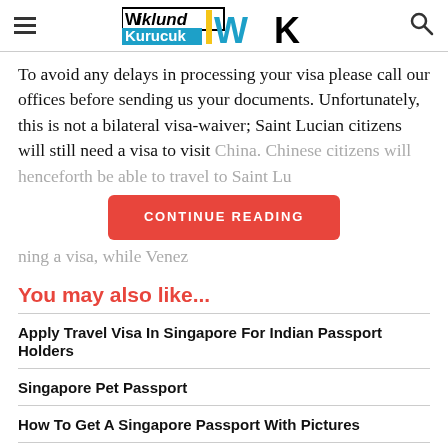Wiklund Kurucuk WK [logo]
To avoid any delays in processing your visa please call our offices before sending us your documents. Unfortunately, this is not a bilateral visa-waiver; Saint Lucian citizens will still need a visa to visit China. Chinese citizens will henceforth be able to travel to Sai... [CONTINUE READING] ...ning a visa, while Venez...
You may also like...
Apply Travel Visa In Singapore For Indian Passport Holders
Singapore Pet Passport
How To Get A Singapore Passport With Pictures